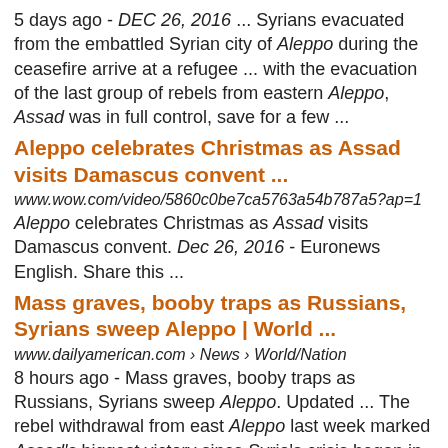5 days ago - DEC 26, 2016 ... Syrians evacuated from the embattled Syrian city of Aleppo during the ceasefire arrive at a refugee ... with the evacuation of the last group of rebels from eastern Aleppo, Assad was in full control, save for a few ...
Aleppo celebrates Christmas as Assad visits Damascus convent ...
www.wow.com/video/5860c0be7ca5763a54b787a5?ap=1
Aleppo celebrates Christmas as Assad visits Damascus convent. Dec 26, 2016 - Euronews English. Share this ...
Mass graves, booby traps as Russians, Syrians sweep Aleppo | World ...
www.dailyamerican.com › News › World/Nation
8 hours ago - Mass graves, booby traps as Russians, Syrians sweep Aleppo. Updated ... The rebel withdrawal from east Aleppo last week marked Assad's biggest victory since Syria's crisis began in 2011. .... Mon, Dec 26, 2016 @ 12:03 am.
Cease-Fire Underway In Aleppo; Civilians Still Trapped In War Zone ...
www.northcountrypublicradio.org/.../planned-evacuation-of-eas